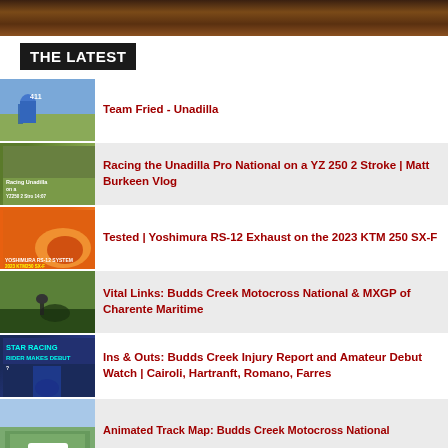[Figure (photo): Top banner image showing dirt/motocross terrain in brown tones]
THE LATEST
[Figure (photo): Thumbnail of motocross rider #411 in blue gear - Team Fried Unadilla]
Team Fried - Unadilla
[Figure (photo): Thumbnail showing Racing Unadilla on a YZ250 2 Stro video thumbnail with green background]
Racing the Unadilla Pro National on a YZ 250 2 Stroke | Matt Burkeen Vlog
[Figure (photo): Thumbnail of orange KTM 250 SX-F with Yoshimura RS-12 system on orange background]
Tested | Yoshimura RS-12 Exhaust on the 2023 KTM 250 SX-F
[Figure (photo): Thumbnail of motocross rider on track with green trees background - Budds Creek]
Vital Links: Budds Creek Motocross National & MXGP of Charente Maritime
[Figure (photo): Star Racing rider makes debut thumbnail with teal/green text on dark background]
Ins & Outs: Budds Creek Injury Report and Amateur Debut Watch | Cairoli, Hartranft, Romano, Farres
[Figure (photo): Aerial view of Budds Creek Motocross National track with GEICO logo badge]
Animated Track Map: Budds Creek Motocross National